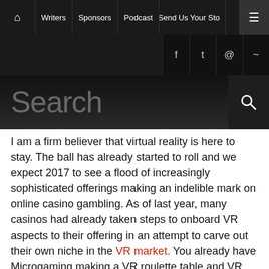Home | Writers | Sponsors | Podcast | Send Us Your Story | Menu
[Figure (screenshot): Website navigation bar with dark background showing home icon, Writers, Sponsors, Podcast, Send Us Your Story links, and hamburger menu button, plus social media icons bar below]
seated on the bandwagon.
I am a firm believer that virtual reality is here to stay. The ball has already started to roll and we expect 2017 to see a flood of increasingly sophisticated offerings making an indelible mark on online casino gambling. As of last year, many casinos had already taken steps to onboard VR aspects to their offering in an attempt to carve out their own niche in the VR market. You already have Microgaming making a VR roulette table and VR Casino which has a fully-rendered virtual casino up and working, so as VR becomes more popular this will become even more commonplace. Now, all that remains is for you to put on your headset and pick out your sharpest virtual suit, the VR casinos are ready to deal you in?